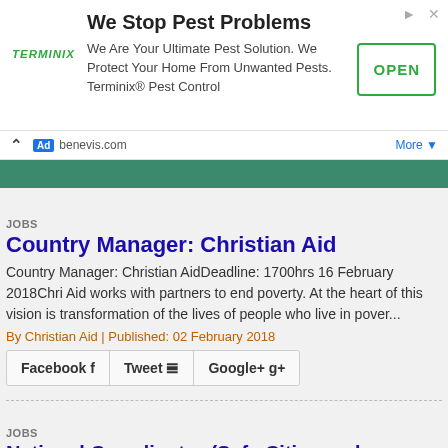[Figure (screenshot): Terminix advertisement banner: 'We Stop Pest Problems' with OPEN button]
Ad  benevis.com   More ▼
JOBS
Country Manager: Christian Aid
Country Manager: Christian AidDeadline: 1700hrs 16 February 2018Chri Aid works with partners to end poverty. At the heart of this vision is transformation of the lives of people who live in pover...
By Christian Aid | Published: 02 February 2018
Facebook  Tweet  Google+ 8+
JOBS
National Coordinator (Safe Cities and Inclusive Cities Program): Plan International
National Coordinator (Safe Cities and Inclusive Cities Program): Plan